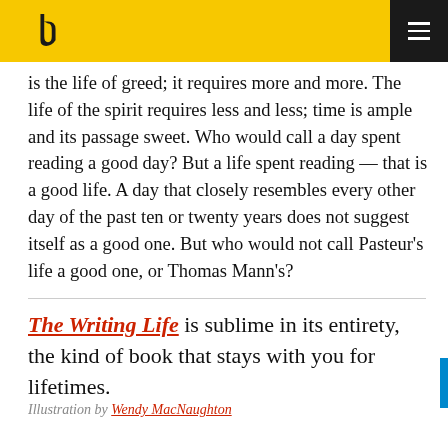[Logo] [Menu]
is the life of greed; it requires more and more. The life of the spirit requires less and less; time is ample and its passage sweet. Who would call a day spent reading a good day? But a life spent reading — that is a good life. A day that closely resembles every other day of the past ten or twenty years does not suggest itself as a good one. But who would not call Pasteur's life a good one, or Thomas Mann's?
The Writing Life is sublime in its entirety, the kind of book that stays with you for lifetimes.
Illustration by Wendy MacNaughton